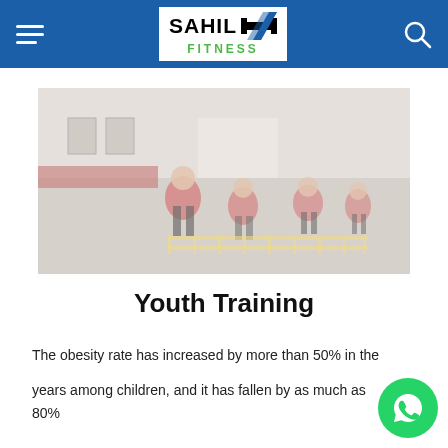SAHIL FITNESS
[Figure (photo): Children in red shirts doing agility ladder drills in a gym/fitness facility]
Youth Training
The obesity rate has increased by more than 50% in the [past] years among children, and it has fallen by as much as 80%